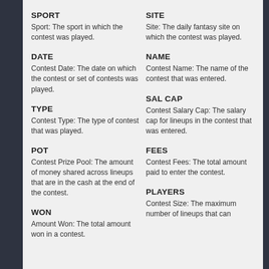SPORT
Sport: The sport in which the contest was played.
SITE
Site: The daily fantasy site on which the contest was played.
DATE
Contest Date: The date on which the contest or set of contests was played.
NAME
Contest Name: The name of the contest that was entered.
TYPE
Contest Type: The type of contest that was played.
SAL CAP
Contest Salary Cap: The salary cap for lineups in the contest that was entered.
POT
Contest Prize Pool: The amount of money shared across lineups that are in the cash at the end of the contest.
FEES
Contest Fees: The total amount paid to enter the contest.
WON
Amount Won: The total amount won in a contest.
PLAYERS
Contest Size: The maximum number of lineups that can